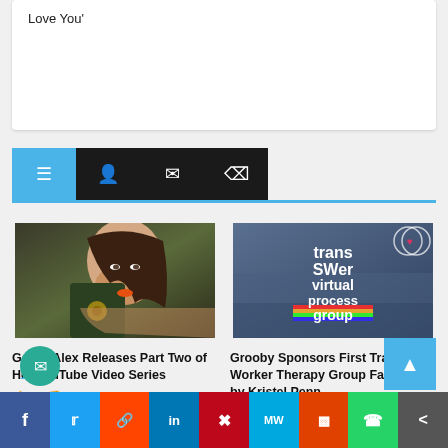Love You'
[Figure (screenshot): Navigation bar with menu, user, bookmark, and tag icons on dark and blue backgrounds]
[Figure (photo): Tattooed woman with orange lipstick posing for photo]
GoAskAlex Releases Part Two of Her YouTube Video Series
👍 2   👎 0
[Figure (photo): Trans SWer virtual process group promotional image]
Grooby Sponsors First Trans Sex Worker Therapy Group Facilitated by Kristel Penn
👍 6   👎 0
[Figure (screenshot): Social media share bar with Facebook, Twitter, Reddit, LinkedIn, Pinterest, MeWe, Mix, WhatsApp, and share buttons]